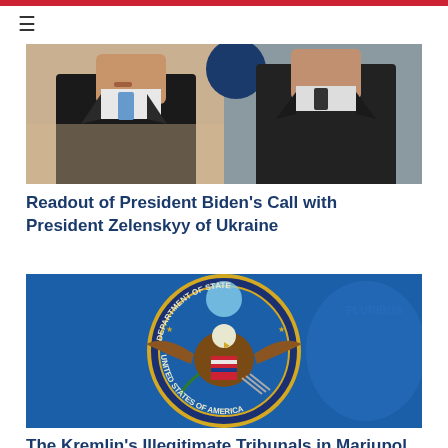≡
[Figure (photo): Side-by-side photo of President Biden (left, in suit with blue tie, speaking at podium) and President Zelenskyy (right, in dark suit)]
Readout of President Biden's Call with President Zelenskyy of Ukraine
[Figure (photo): U.S. Department of State official seal on blue background — gold eagle with shield holding olive branch and arrows, surrounded by navy ring with gold text 'Department of State United States of America']
The Kremlin's Illegitimate Tribunals in Mariupol